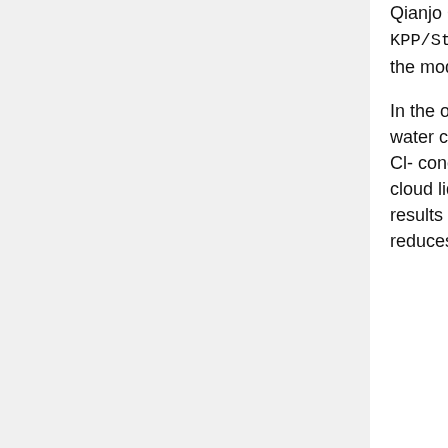Qianjo Chen and I think that there is potential a bug in KPP/Standard/gckpp_HetRates. for halogen chemistry in the model v11-02d/e/f.
In the original code, we were using the grid-box average liquid water content, which likely underestimates the in-cloud Br- and Cl- concentration. So we think that we should change it to in-cloud liquid water content by dividing the cloud fraction. This results in increases the S(IV)+Br reaction in cloud, and thus reduces the BrO abundance, mainly in the